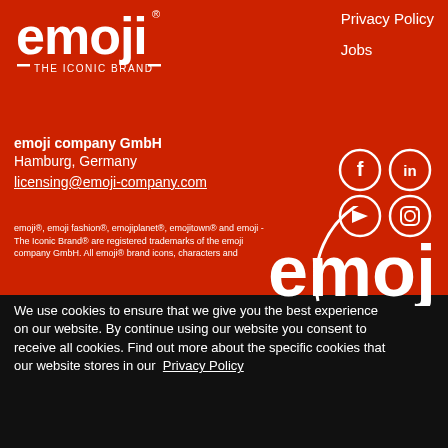[Figure (logo): emoji THE ICONIC BRAND logo in white on red background]
Privacy Policy
Jobs
emoji company GmbH
Hamburg, Germany
licensing@emoji-company.com
[Figure (illustration): Social media icons: Facebook, LinkedIn, YouTube, Instagram in white circles]
emoji®, emoji fashion®, emojiplanet®, emojitown® and emoji - The Iconic Brand® are registered trademarks of the emoji company GmbH. All emoji® brand icons, characters and
[Figure (logo): Large emoji brand watermark logo in bottom right of red section]
We use cookies to ensure that we give you the best experience on our website. By continue using our website you consent to receive all cookies. Find out more about the specific cookies that our website stores in our  Privacy Policy
Accept
Reject
Settings